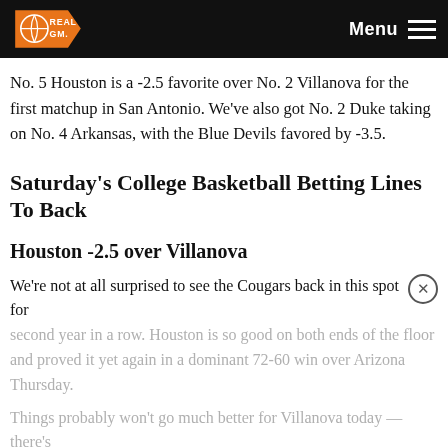RealGM — Menu
No. 5 Houston is a -2.5 favorite over No. 2 Villanova for the first matchup in San Antonio. We've also got No. 2 Duke taking on No. 4 Arkansas, with the Blue Devils favored by -3.5.
Saturday's College Basketball Betting Lines To Back
Houston -2.5 over Villanova
We're not at all surprised to see the Cougars back in this spot for second year in a row. Houston is so good on both ends of the floor and proved it yet again in a dominant 72-60 win over Arizona Thursday.
Things probably won't go much better for Villanova today — there's